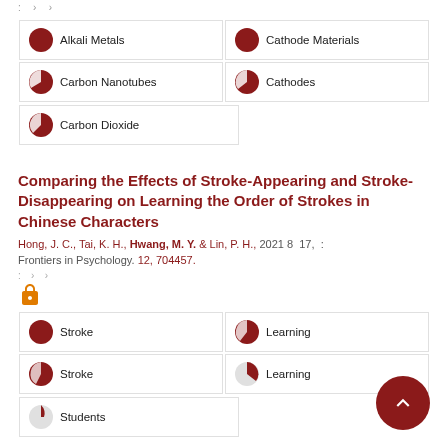: › ›
Alkali Metals
Cathode Materials
Carbon Nanotubes
Cathodes
Carbon Dioxide
Comparing the Effects of Stroke-Appearing and Stroke-Disappearing on Learning the Order of Strokes in Chinese Characters
Hong, J. C., Tai, K. H., Hwang, M. Y. & Lin, P. H., 2021 8 17, : Frontiers in Psychology. 12, 704457.
: › ›
Stroke
Learning
Stroke
Learning
Students